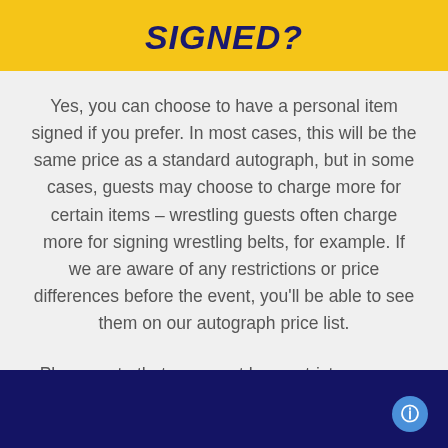SIGNED?
Yes, you can choose to have a personal item signed if you prefer. In most cases, this will be the same price as a standard autograph, but in some cases, guests may choose to charge more for certain items – wrestling guests often charge more for signing wrestling belts, for example. If we are aware of any restrictions or price differences before the event, you'll be able to see them on our autograph price list.
Please note that our event has a strict weapons policy and this applies to all areas of the event and venue.